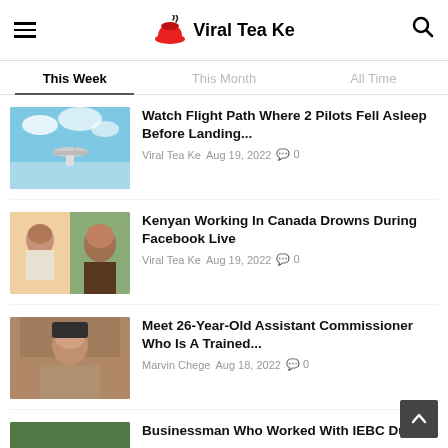Viral Tea Ke
This Week | This Month | All Time
Watch Flight Path Where 2 Pilots Fell Asleep Before Landing...
Viral Tea Ke  Aug 19, 2022  0
Kenyan Working In Canada Drowns During Facebook Live
Viral Tea Ke  Aug 19, 2022  0
Meet 26-Year-Old Assistant Commissioner Who Is A Trained...
Marvin Chege  Aug 18, 2022  0
Businessman Who Worked With IEBC During